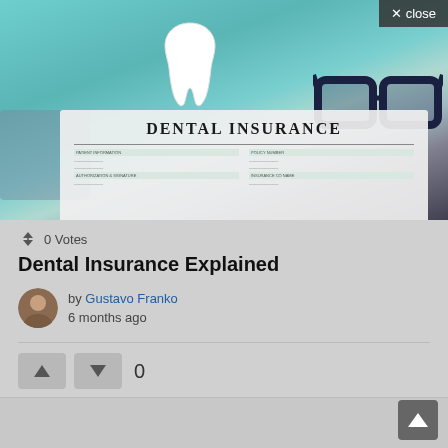[Figure (photo): Hero image showing a dental insurance form document on a teal background, with a white ceramic tooth model in the center, dark-rimmed glasses on the right, and a calculator on the left. The form prominently reads 'DENTAL INSURANCE' in bold serif letters.]
✕ close
↕ 0 Votes
Dental Insurance Explained
by Gustavo Franko
6 months ago
▲  ▼  0